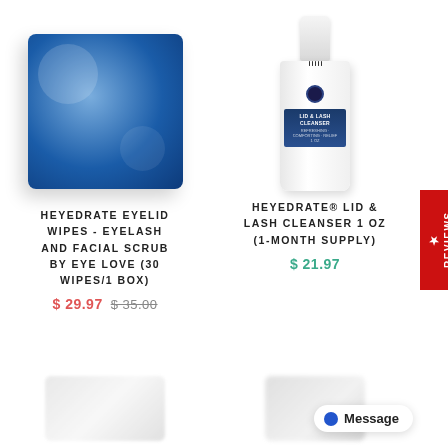[Figure (photo): Blue product box for Heyedrate Eyelid Wipes, blurred photo of blue cardboard packaging]
[Figure (photo): White spray bottle of Heyedrate Lid & Lash Cleanser 1 oz with blue label showing eye logo]
HEYEDRATE EYELID WIPES - EYELASH AND FACIAL SCRUB BY EYE LOVE (30 WIPES/1 BOX)
$ 29.97 $ 35.00
HEYEDRATE® LID & LASH CLEANSER 1 OZ (1-MONTH SUPPLY)
$ 21.97
[Figure (photo): Partially visible product at bottom left, blurred]
[Figure (photo): Partially visible product at bottom right, blurred]
★ REVIEWS
● Message